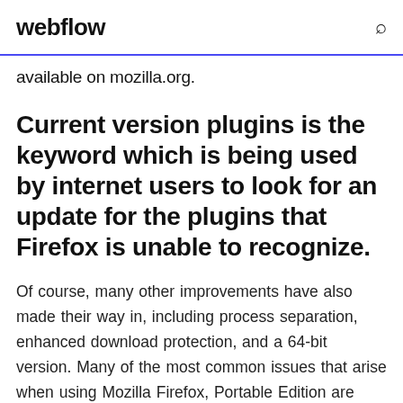webflow
available on mozilla.org.
Current version plugins is the keyword which is being used by internet users to look for an update for the plugins that Firefox is unable to recognize.
Of course, many other improvements have also made their way in, including process separation, enhanced download protection, and a 64-bit version. Many of the most common issues that arise when using Mozilla Firefox, Portable Edition are addressed here. Please